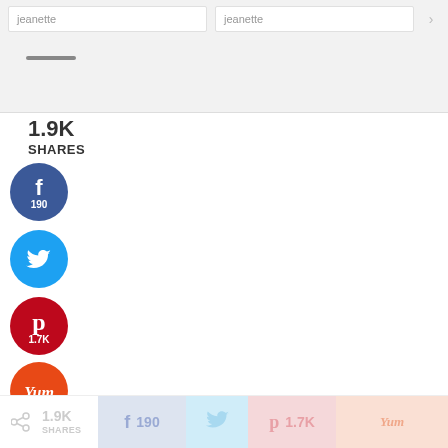[Figure (screenshot): Top panel showing two input fields with 'jeanette' placeholder text and a dark horizontal bar below]
1.9K
SHARES
[Figure (infographic): Facebook circular share button, blue, showing count 190]
[Figure (infographic): Twitter circular share button, light blue]
[Figure (infographic): Pinterest circular share button, red, showing count 1.7K]
[Figure (infographic): Yummly circular share button, orange, showing Yum logo]
[Figure (infographic): Bottom share bar with 1.9K SHARES, Facebook 190, Twitter, Pinterest 1.7K, Yummly buttons in muted colors]